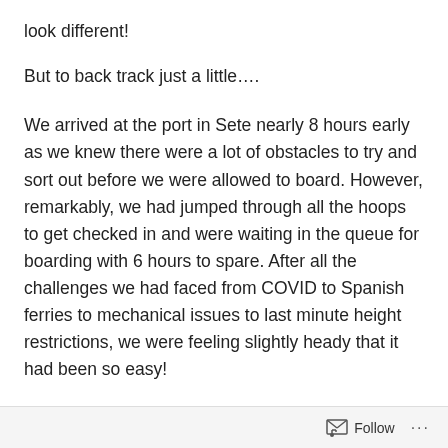look different!
But to back track just a little….
We arrived at the port in Sete nearly 8 hours early as we knew there were a lot of obstacles to try and sort out before we were allowed to board. However, remarkably, we had jumped through all the hoops to get checked in and were waiting in the queue for boarding with 6 hours to spare. After all the challenges we had faced from COVID to Spanish ferries to mechanical issues to last minute height restrictions, we were feeling slightly heady that it had been so easy!
Follow ...